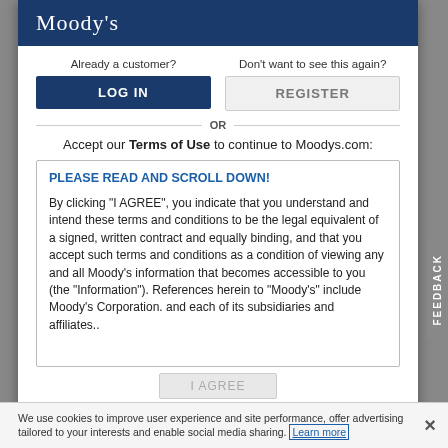Moody's
Already a customer?
LOG IN
Don't want to see this again?
REGISTER
OR
Accept our Terms of Use to continue to Moodys.com:
PLEASE READ AND SCROLL DOWN!
By clicking “I AGREE”, you indicate that you understand and intend these terms and conditions to be the legal equivalent of a signed, written contract and equally binding, and that you accept such terms and conditions as a condition of viewing any and all Moody’s information that becomes accessible to you (the “Information”). References herein to “Moody’s” include Moody’s Corporation. and each of its subsidiaries and affiliates..
I AGREE
We use cookies to improve user experience and site performance, offer advertising tailored to your interests and enable social media sharing. Learn more ×